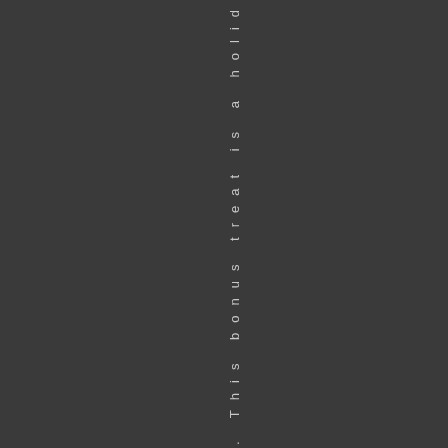e. . This bonus treat is a holid